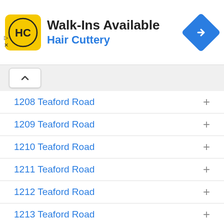[Figure (screenshot): Advertisement banner for Hair Cuttery with logo, 'Walk-Ins Available' text, and navigation icon]
1208 Teaford Road
1209 Teaford Road
1210 Teaford Road
1211 Teaford Road
1212 Teaford Road
1213 Teaford Road
1214 Teaford Road